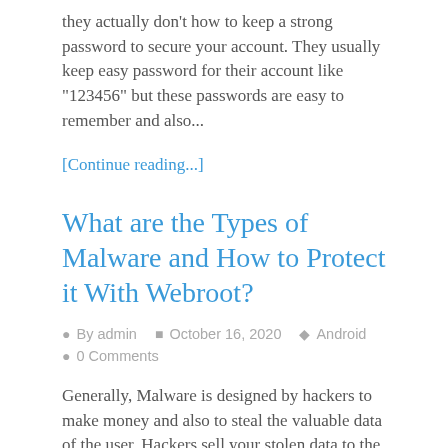they actually don't how to keep a strong password to secure your account. They usually keep easy password for their account like "123456" but these passwords are easy to remember and also...
[Continue reading...]
What are the Types of Malware and How to Protect it With Webroot?
By admin   October 16, 2020   Android   0 Comments
Generally, Malware is designed by hackers to make money and also to steal the valuable data of the user. Hackers sell your stolen data to the highest bidder on the Dark Web. The other reasons for creating the malware are this...